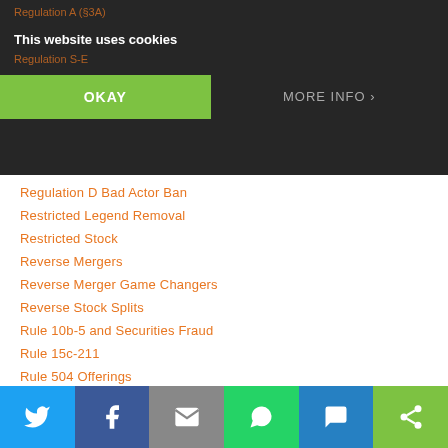This website uses cookies
OKAY
MORE INFO
Regulation D Bad Actor Ban
Restricted Legend Removal
Restricted Stock
Reverse Mergers
Reverse Merger Game Changers
Reverse Stock Splits
Rule 10b-5 and Securities Fraud
Rule 15c-211
Rule 504 Offerings
Rule 506(b) Offerings
Rule 506(c)
Rule 506(c) Covered Persons and Bad Actors
Rule 506(c) State Blue Sky Requirements
Rule 506(c) Offerings
SEC Actions & Administrative Proceedings
SEC Comments
SEC Draft Registration Statements
SEC Form S-1 Filing Requirements